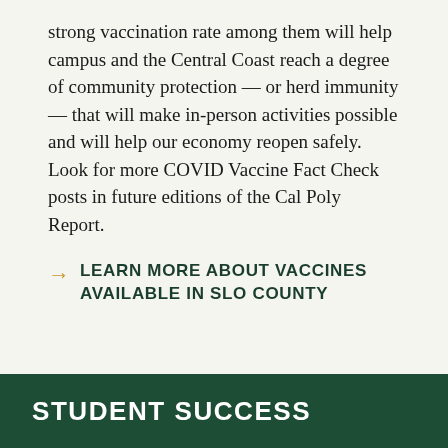strong vaccination rate among them will help campus and the Central Coast reach a degree of community protection — or herd immunity — that will make in-person activities possible and will help our economy reopen safely. Look for more COVID Vaccine Fact Check posts in future editions of the Cal Poly Report.
→ LEARN MORE ABOUT VACCINES AVAILABLE IN SLO COUNTY
STUDENT SUCCESS